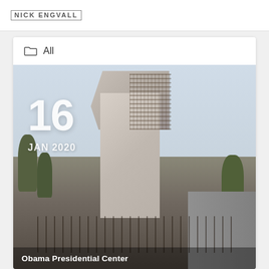NICK ENGVALL
All
[Figure (photo): Architectural rendering of the Obama Presidential Center, showing a large monumental stone tower building with a textured upper facade, surrounded by trees and plaza with people walking, date overlay reads 16 JAN 2020]
Obama Presidential Center